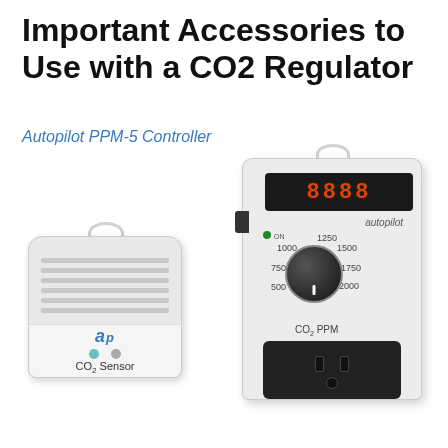Important Accessories to Use with a CO2 Regulator
Autopilot PPM-5 Controller
[Figure (photo): Photo of Autopilot PPM-5 CO2 controller (right, larger white device with digital display and dial) and a CO2 sensor (left, smaller white device with vented housing and AP logo), both shown as accessories for use with a CO2 regulator.]